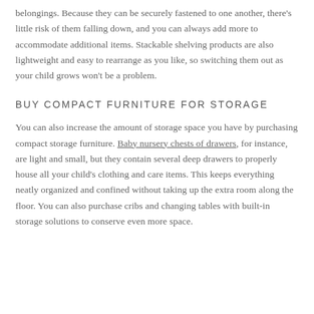belongings. Because they can be securely fastened to one another, there's little risk of them falling down, and you can always add more to accommodate additional items. Stackable shelving products are also lightweight and easy to rearrange as you like, so switching them out as your child grows won't be a problem.
BUY COMPACT FURNITURE FOR STORAGE
You can also increase the amount of storage space you have by purchasing compact storage furniture. Baby nursery chests of drawers, for instance, are light and small, but they contain several deep drawers to properly house all your child's clothing and care items. This keeps everything neatly organized and confined without taking up the extra room along the floor. You can also purchase cribs and changing tables with built-in storage solutions to conserve even more space.